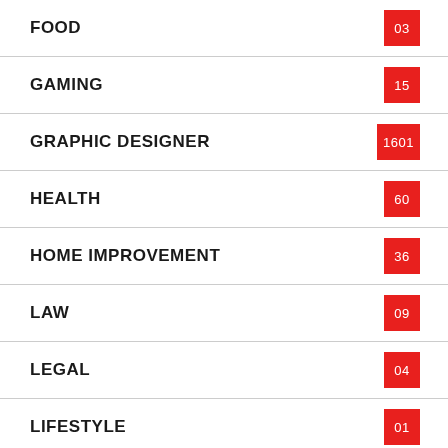FOOD
GAMING
GRAPHIC DESIGNER
HEALTH
HOME IMPROVEMENT
LAW
LEGAL
LIFESTYLE
MARKETING
NEWS